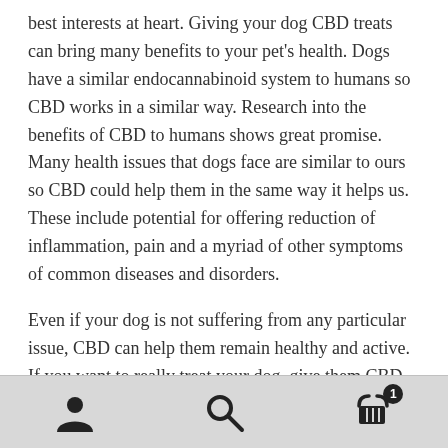best interests at heart. Giving your dog CBD treats can bring many benefits to your pet's health. Dogs have a similar endocannabinoid system to humans so CBD works in a similar way. Research into the benefits of CBD to humans shows great promise. Many health issues that dogs face are similar to ours so CBD could help them in the same way it helps us. These include potential for offering reduction of inflammation, pain and a myriad of other symptoms of common diseases and disorders.
Even if your dog is not suffering from any particular issue, CBD can help them remain healthy and active. If you want to really treat your dog, give them CBD Edibites. Prepared by a master chef with the assistance of a veterinarian, our Edibites are fully organic, tasty and nutritious.
[user icon] [search icon] [cart icon with badge 1]